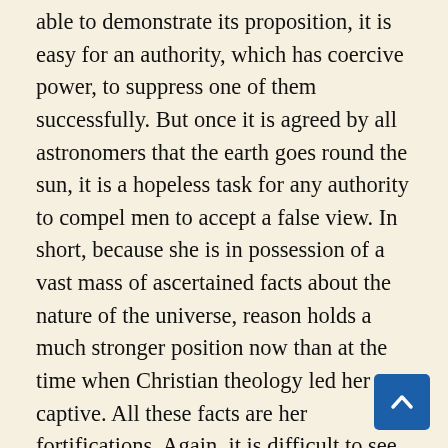able to demonstrate its proposition, it is easy for an authority, which has coercive power, to suppress one of them successfully. But once it is agreed by all astronomers that the earth goes round the sun, it is a hopeless task for any authority to compel men to accept a false view. In short, because she is in possession of a vast mass of ascertained facts about the nature of the universe, reason holds a much stronger position now than at the time when Christian theology led her captive. All these facts are her fortifications. Again, it is difficult to see what can arrest the continuous progress of knowledge in the future. In ancient times this progress depended on a few; nowadays, many nations take part in the work. A general conviction of the importance of science prevails to-day, which did not